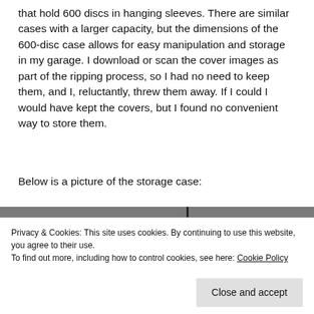that hold 600 discs in hanging sleeves. There are similar cases with a larger capacity, but the dimensions of the 600-disc case allows for easy manipulation and storage in my garage. I download or scan the cover images as part of the ripping process, so I had no need to keep them, and I, reluctantly, threw them away. If I could I would have kept the covers, but I found no convenient way to store them.
Below is a picture of the storage case:
[Figure (photo): Partial view of a CD/disc storage case, showing hanging sleeves or discs, with a vertical divider visible. Image is partially obscured by cookie banner.]
Privacy & Cookies: This site uses cookies. By continuing to use this website, you agree to their use.
To find out more, including how to control cookies, see here: Cookie Policy
Close and accept